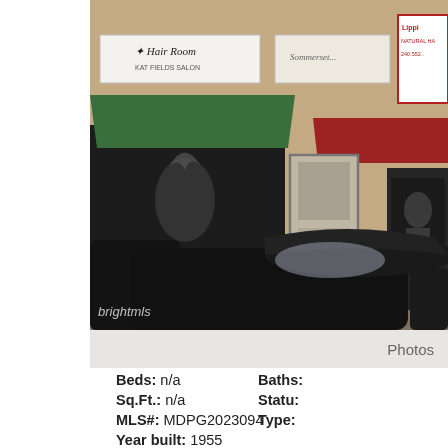[Figure (photo): Street-level photo of commercial storefronts including a Hair Room salon with green awning, a middle shop with red awning, and a right shop partially visible. A dark sedan is parked in front. A 'brightmls' watermark appears at bottom left of the photo.]
Photos
Beds: n/a
Baths:
Sq.Ft.: n/a
Statu:
MLS#: MDPG2023094
Type:
Year built: 1955
View Details